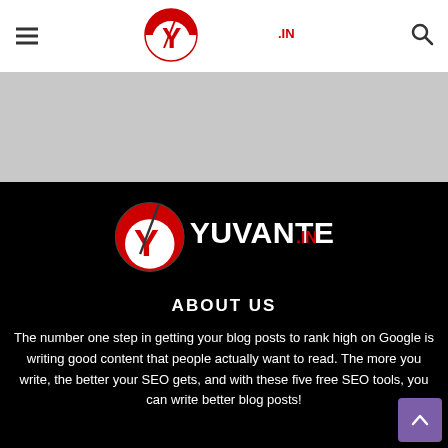YuvanTech.in — navigation header with hamburger menu, logo, and search icon
[Figure (logo): YuvanTech.in logo in the top navigation bar — red and white Y icon with YUVANTECH.IN text]
[Figure (logo): YuvanTech.in logo centered on black footer background — red and white Y icon with YUVANTECH.IN text]
ABOUT US
The number one step in getting your blog posts to rank high on Google is writing good content that people actually want to read. The more you write, the better your SEO gets, and with these five free SEO tools, you can write better blog posts!